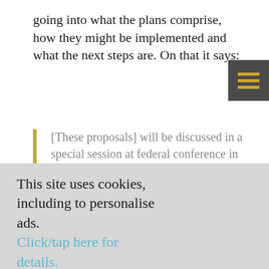going into what the plans comprise, how they might be implemented and what the next steps are. On that it says:
[These proposals] will be discussed in a special session at federal conference in Brighton led by Vince Cable, on Saturday 15 September at 1300, in the
This site uses cookies, including to personalise ads. Click/tap here for details.
I'm happy to visit site